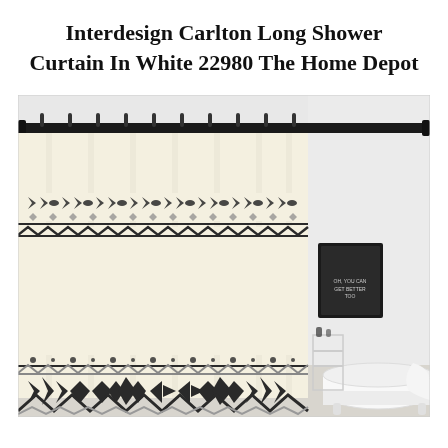Interdesign Carlton Long Shower Curtain In White 22980 The Home Depot
[Figure (photo): Product photo of the Interdesign Carlton Long Shower Curtain in white, featuring Aztec/geometric black and gray pattern on an off-white/cream background, hung on a black curtain rod in a bathroom setting with a white clawfoot bathtub and a chalkboard sign on the wall.]